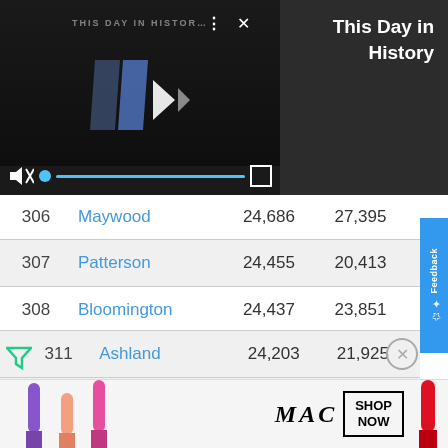[Figure (screenshot): Video player showing 'This Day in History' video with playback controls, mute icon, progress bar, and fullscreen icon on dark background]
This Day in History
| # | City | Population | Previous |
| --- | --- | --- | --- |
| 306 | Maywood | 24,686 | 27,395 |
| 307 | Patterson | 24,455 | 20,413 |
| 308 | Bloomington | 24,437 | 23,851 |
| 309 | Bay Point | 24,406 | 21,349 |
| 310 | East San Gabriel | 24,349 | 14,874 |
| 311 | Ashland | 24,203 | 21,925 |
[Figure (photo): MAC Cosmetics advertisement banner showing colorful lipsticks with SHOP NOW button]